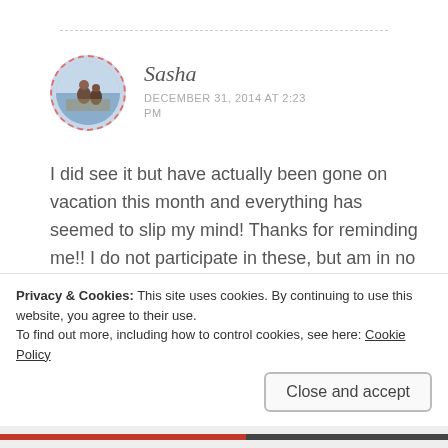[Figure (photo): Circular avatar photo of a person, with a dashed red/pink circular border]
Sasha
DECEMBER 31, 2014 AT 2:23 PM
I did see it but have actually been gone on vacation this month and everything has seemed to slip my mind! Thanks for reminding me!! I do not participate in these, but am in no way less honored! Thank you so much!!!! SO happy! 🙂
Privacy & Cookies: This site uses cookies. By continuing to use this website, you agree to their use.
To find out more, including how to control cookies, see here: Cookie Policy
Close and accept